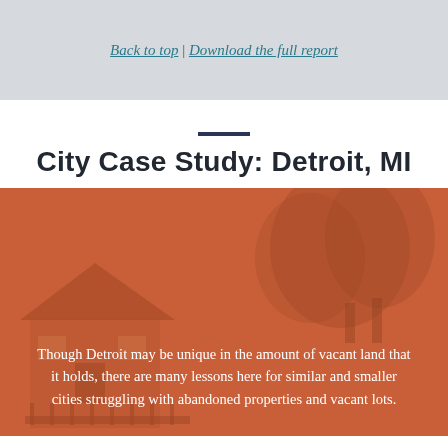Back to top | Download the full report
City Case Study: Detroit, MI
[Figure (photo): Photograph of a residential house with trees, overlaid with a semi-transparent orange/terracotta color wash. White text overlay reads: 'Though Detroit may be unique in the amount of vacant land that it holds, there are many lessons here for similar and smaller cities struggling with abandoned properties and vacant lots.']
Though Detroit may be unique in the amount of vacant land that it holds, there are many lessons here for similar and smaller cities struggling with abandoned properties and vacant lots.